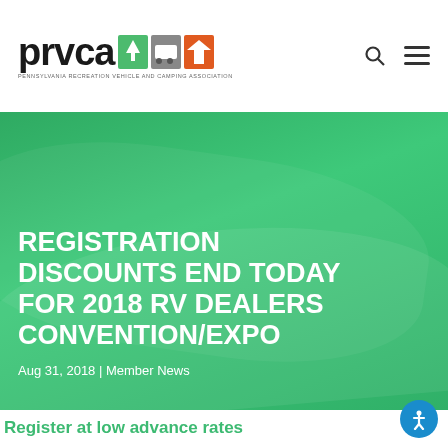prvca — Pennsylvania Recreation Vehicle and Camping Association
[Figure (screenshot): PRVCA logo with colored icons (tree, RV, building) and tagline 'Pennsylvania Recreation Vehicle and Camping Association']
REGISTRATION DISCOUNTS END TODAY FOR 2018 RV DEALERS CONVENTION/EXPO
Aug 31, 2018 | Member News
Register at low advance rates